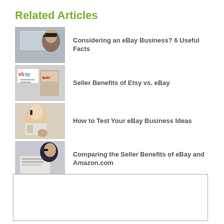Related Articles
Considering an eBay Business? 6 Useful Facts
Seller Benefits of Etsy vs. eBay
How to Test Your eBay Business Ideas
Comparing the Seller Benefits of eBay and Amazon.com
Using the Internet to Advertise Your Dressmaking Business
[Figure (other): Empty advertisement box]